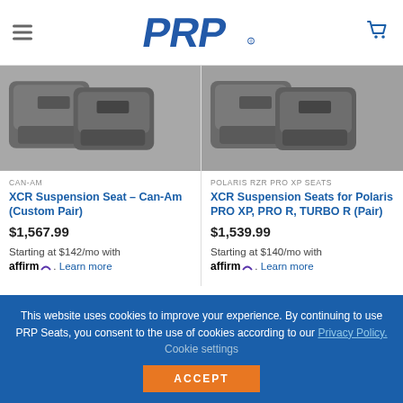PRP Seats header with logo and navigation
[Figure (photo): XCR Suspension Seat Can-Am product image - gray seat pair]
CAN-AM
XCR Suspension Seat – Can-Am (Custom Pair)
$1,567.99
Starting at $142/mo with Affirm. Learn more
[Figure (photo): XCR Suspension Seats for Polaris PRO XP product image - gray seat pair]
POLARIS RZR PRO XP SEATS
XCR Suspension Seats for Polaris PRO XP, PRO R, TURBO R (Pair)
$1,539.99
Starting at $140/mo with Affirm. Learn more
This website uses cookies to improve your experience. By continuing to use PRP Seats, you consent to the use of cookies according to our Privacy Policy. Cookie settings ACCEPT